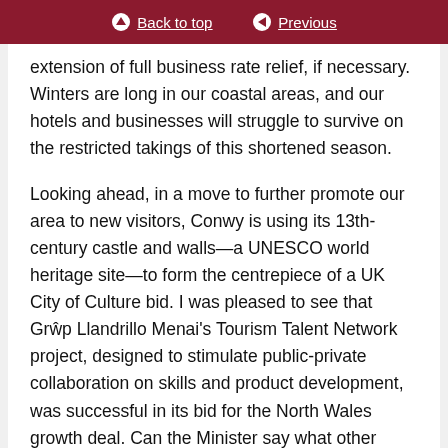Back to top | Previous
extension of full business rate relief, if necessary. Winters are long in our coastal areas, and our hotels and businesses will struggle to survive on the restricted takings of this shortened season.
Looking ahead, in a move to further promote our area to new visitors, Conwy is using its 13th-century castle and walls—a UNESCO world heritage site—to form the centrepiece of a UK City of Culture bid. I was pleased to see that Grŵp Llandrillo Menai's Tourism Talent Network project, designed to stimulate public-private collaboration on skills and product development, was successful in its bid for the North Wales growth deal. Can the Minister say what other projects to accelerate the growth of the tourism and hospitality sector in the region are